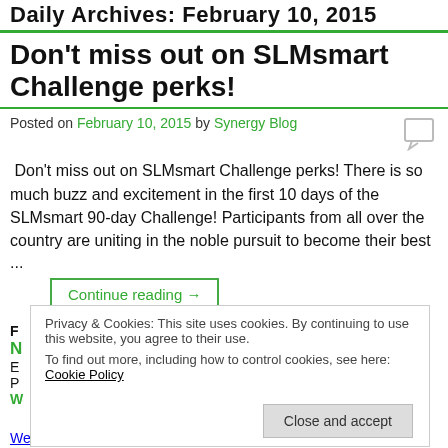Daily Archives: February 10, 2015
Don't miss out on SLMsmart Challenge perks!
Posted on February 10, 2015 by Synergy Blog
Don't miss out on SLMsmart Challenge perks! There is so much buzz and excitement in the first 10 days of the SLMsmart 90-day Challenge! Participants from all over the country are uniting in the noble pursuit to become their best
...
Continue reading →
Privacy & Cookies: This site uses cookies. By continuing to use this website, you agree to their use. To find out more, including how to control cookies, see here: Cookie Policy
Close and accept
Weight Management, Weight Management | Leave a reply